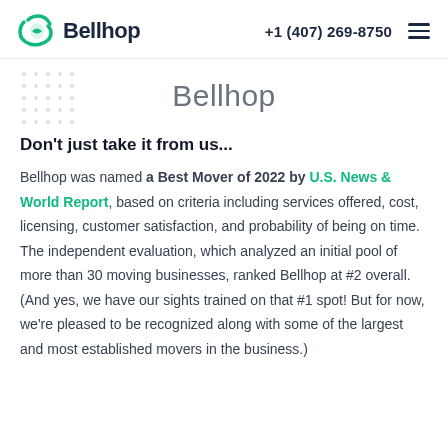Bellhop  +1 (407) 269-8750
Bellhop
Don't just take it from us...
Bellhop was named a Best Mover of 2022 by U.S. News & World Report, based on criteria including services offered, cost, licensing, customer satisfaction, and probability of being on time. The independent evaluation, which analyzed an initial pool of more than 30 moving businesses, ranked Bellhop at #2 overall. (And yes, we have our sights trained on that #1 spot! But for now, we're pleased to be recognized along with some of the largest and most established movers in the business.)